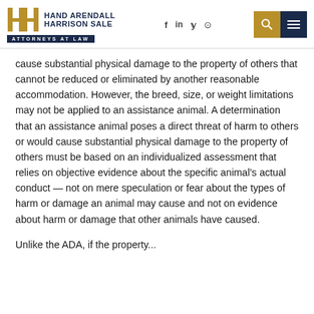Hand Arendall Harrison Sale — Attorneys at Law
cause substantial physical damage to the property of others that cannot be reduced or eliminated by another reasonable accommodation. However, the breed, size, or weight limitations may not be applied to an assistance animal. A determination that an assistance animal poses a direct threat of harm to others or would cause substantial physical damage to the property of others must be based on an individualized assessment that relies on objective evidence about the specific animal's actual conduct — not on mere speculation or fear about the types of harm or damage an animal may cause and not on evidence about harm or damage that other animals have caused.
Unlike the ADA, if the property...